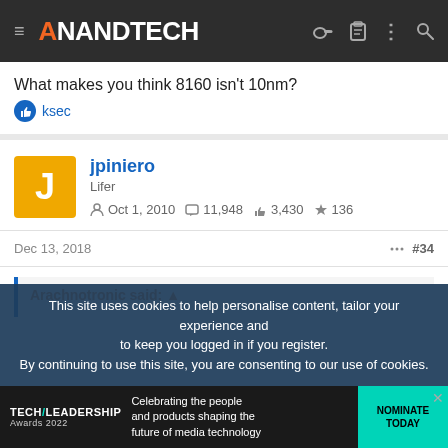AnandTech navigation header
What makes you think 8160 isn't 10nm?
👍 ksec
jpiniero
Lifer
Oct 1, 2010  11,948  3,430  136
Dec 13, 2018  #34
Arachnotronic said: ↑
This site uses cookies to help personalise content, tailor your experience and to keep you logged in if you register.
By continuing to use this site, you are consenting to our use of cookies.
[Figure (screenshot): Tech Leadership Awards 2022 advertisement banner: Celebrating the people and products shaping the future of media technology. NOMINATE TODAY.]